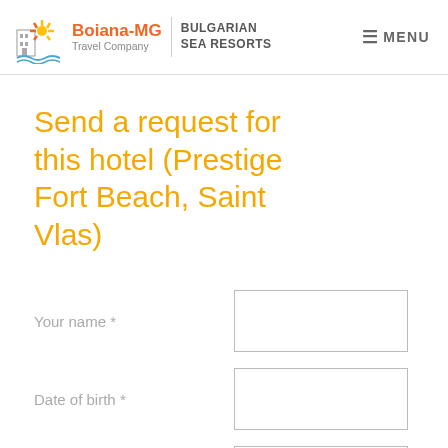Boiana-MG Travel Company | BULGARIAN SEA RESORTS — MENU
Send a request for this hotel (Prestige Fort Beach, Saint Vlas)
Your name *
Date of birth *
Your country *